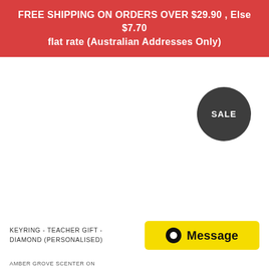FREE SHIPPING ON ORDERS OVER $29.90 , Else $7.70 flat rate (Australian Addresses Only)
[Figure (other): Product image area (white/blank) with a dark grey circular SALE badge in the upper right area]
KEYRING - TEACHER GIFT - DIAMOND (PERSONALISED)
[Figure (other): Yellow Message button with black circle icon and bold 'Message' text]
AMBER GROVE SCENTER ON